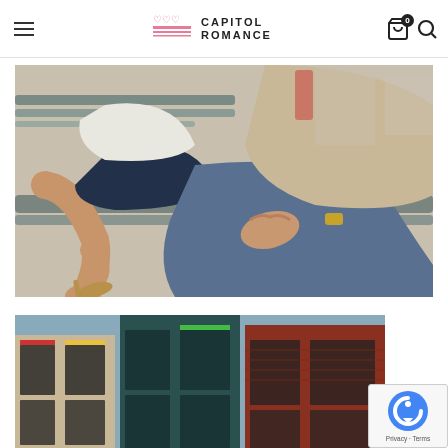Capitol Romance
[Figure (photo): Couple sitting on a park bench, man in jeans and beige jacket with hand on knee, woman in dark skirt, white jacket and heels]
[Figure (photo): Street view of colorful commercial buildings with large windows]